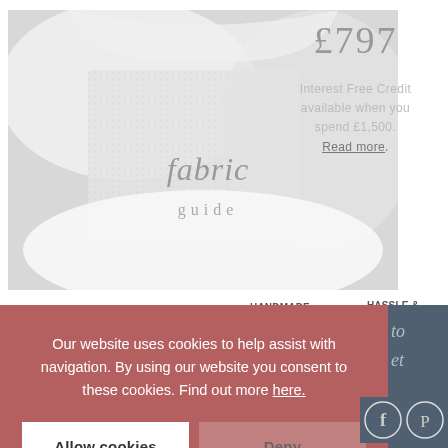[Figure (photo): Fabric guide promotional image showing fabric swatches in grey/white tones with italic text 'fabric guide' overlaid]
£797
Interest Free Credit available when you spend £1,500. Read more.
HANDMADE TO ORDER  HASSLE & RISK-FREE 14 DAY RETURNS
Our website uses cookies to help assist with navigation. By using our website you consent to these cookies. Find out more here.
Allow cookies
Deny